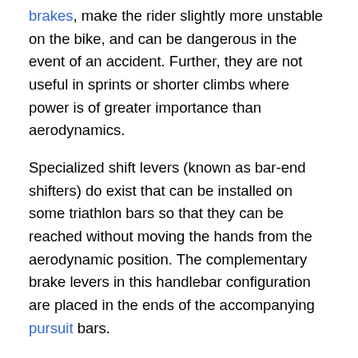brakes, make the rider slightly more unstable on the bike, and can be dangerous in the event of an accident. Further, they are not useful in sprints or shorter climbs where power is of greater importance than aerodynamics.
Specialized shift levers (known as bar-end shifters) do exist that can be installed on some triathlon bars so that they can be reached without moving the hands from the aerodynamic position. The complementary brake levers in this handlebar configuration are placed in the ends of the accompanying pursuit bars.
Aero bars are a recent addition to road racing time trials, with Greg LeMond first using them in the 1989 Tour de France. In a controversial time trial on the final day, LeMond used them to beat yellow jersey wearer Laurent Fignon by 58 seconds, changing a 50-second deficit into an 8-second lead. Fignon protested at the use of these